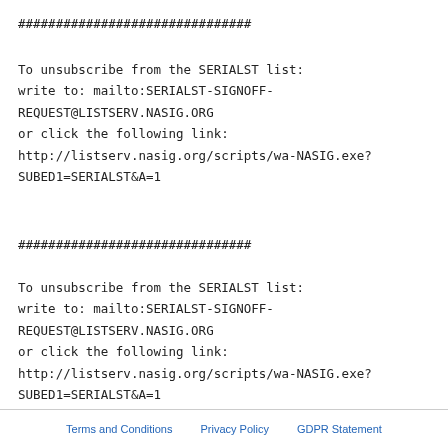###############################
To unsubscribe from the SERIALST list:
write to: mailto:SERIALST-SIGNOFF-REQUEST@LISTSERV.NASIG.ORG
or click the following link:
http://listserv.nasig.org/scripts/wa-NASIG.exe?SUBED1=SERIALST&A=1
###############################
To unsubscribe from the SERIALST list:
write to: mailto:SERIALST-SIGNOFF-REQUEST@LISTSERV.NASIG.ORG
or click the following link:
http://listserv.nasig.org/scripts/wa-NASIG.exe?SUBED1=SERIALST&A=1
Terms and Conditions   Privacy Policy   GDPR Statement